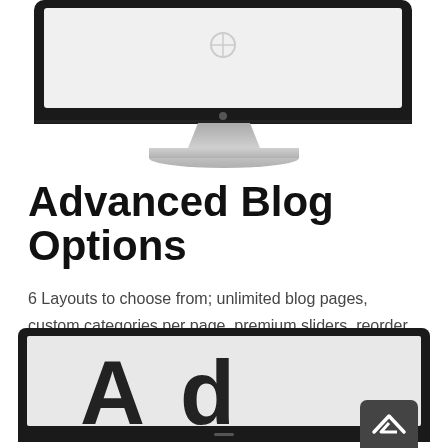[Figure (illustration): Top portion of an iMac desktop monitor with silver stand, showing a mostly empty light gray screen, black bezel with Apple logo on chin, and silver neck and base stand.]
Advanced Blog Options
6 Layouts to choose from; unlimited blog pages, custom categories per page, premium sliders, reorder posts, awesome rollover effects, custom featured image size per post to name a few!
[Figure (screenshot): Bottom portion of a laptop/monitor screen showing a dark bezel frame, a small dot on the chin bar, a scroll-to-top arrow button in dark gray on the right, and large bold letters partially visible at the bottom of the screen interior.]